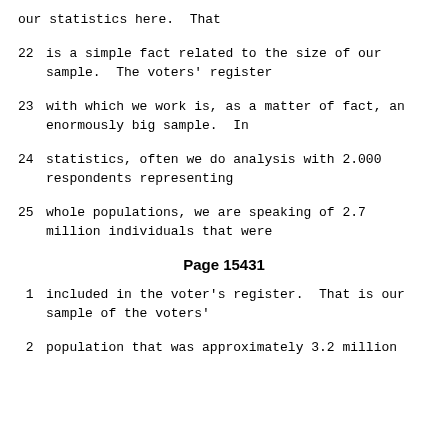our statistics here.  That
22     is a simple fact related to the size of our sample.  The voters' register
23     with which we work is, as a matter of fact, an enormously big sample.  In
24     statistics, often we do analysis with 2.000 respondents representing
25     whole populations, we are speaking of 2.7 million individuals that were
Page 15431
1     included in the voter's register.  That is our sample of the voters'
2     population that was approximately 3.2 million